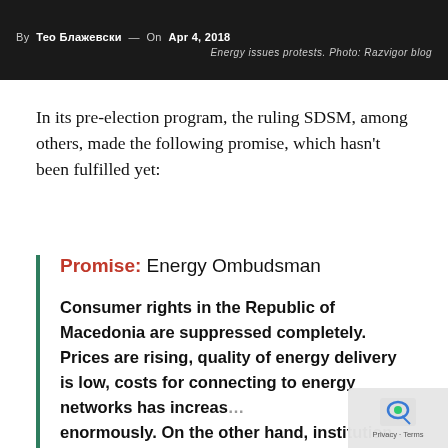By Тео Блажевски — On Apr 4, 2018
Energy issues protests. Photo: Razvigor blog
In its pre-election program, the ruling SDSM, among others, made the following promise, which hasn't been fulfilled yet:
Promise: Energy Ombudsman
Consumer rights in the Republic of Macedonia are suppressed completely. Prices are rising, quality of energy delivery is low, costs for connecting to energy networks has increased enormously. On the other hand, institutions that should take care of consumer rights